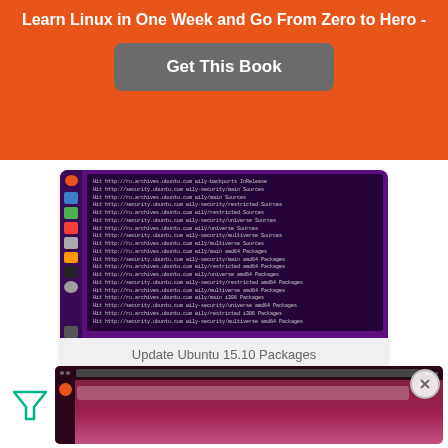Learn Linux in One Week and Go From Zero to Hero -
Get This Book
[Figure (screenshot): Ubuntu 15.10 terminal showing apt-get update output with package source listings on purple desktop]
Update Ubuntu 15.10 Packages
[Figure (screenshot): Ubuntu desktop screenshot partially visible, with a filter/funnel icon and close button overlay]